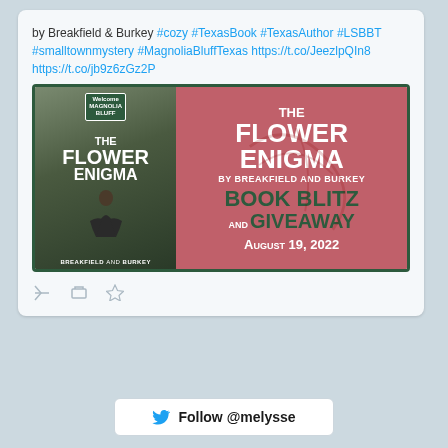by Breakfield & Burkey #cozy #TexasBook #TexasAuthor #LSBBT #smalltownmystery #MagnoliaBluffTexas https://t.co/JeezlpQIn8 https://t.co/jb9z6zGz2P
[Figure (screenshot): Book promotion banner for 'The Flower Enigma' by Breakfield and Burkey - Book Blitz and Giveaway August 19, 2022. Left side shows book cover with dark background and title text; right side shows pink/red background with title, authors, event details.]
Follow @melysse